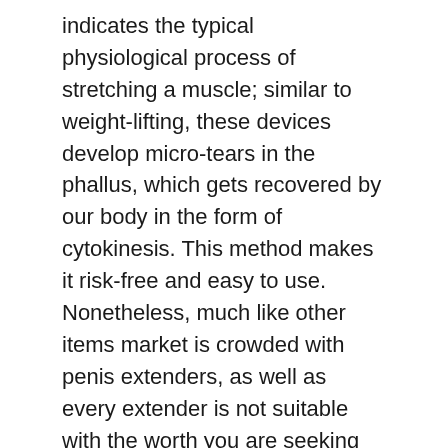indicates the typical physiological process of stretching a muscle; similar to weight-lifting, these devices develop micro-tears in the phallus, which gets recovered by our body in the form of cytokinesis. This method makes it risk-free and easy to use. Nonetheless, much like other items market is crowded with penis extenders, as well as every extender is not suitable with the worth you are seeking for. A penis cot can range from 50$ -500$, however it never means a fifty-bucks tool would certainly use the like that of five hundred bucks. It does not suggest pricey ones are always the best.
How To Create Penis Extender Routind
Internet has lots of advertisements that